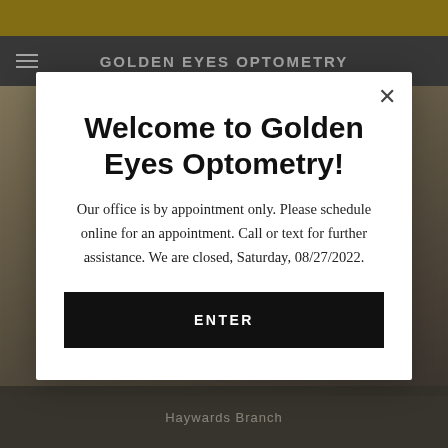GOLDEN EYES OPTOMETRY
[Figure (screenshot): Background website page of Golden Eyes Optometry with header bar, navigation menu icon, and blurred photo strip]
Welcome to Golden Eyes Optometry!
Our office is by appointment only. Please schedule online for an appointment. Call or text for further assistance. We are closed, Saturday, 08/27/2022.
ENTER